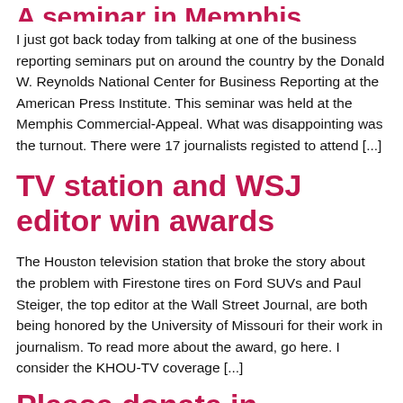A seminar in Memphis
I just got back today from talking at one of the business reporting seminars put on around the country by the Donald W. Reynolds National Center for Business Reporting at the American Press Institute. This seminar was held at the Memphis Commercial-Appeal. What was disappointing was the turnout. There were 17 journalists registed to attend [...]
TV station and WSJ editor win awards
The Houston television station that broke the story about the problem with Firestone tires on Ford SUVs and Paul Steiger, the top editor at the Wall Street Journal, are both being honored by the University of Missouri for their work in journalism. To read more about the award, go here. I consider the KHOU-TV coverage [...]
Please donate in...